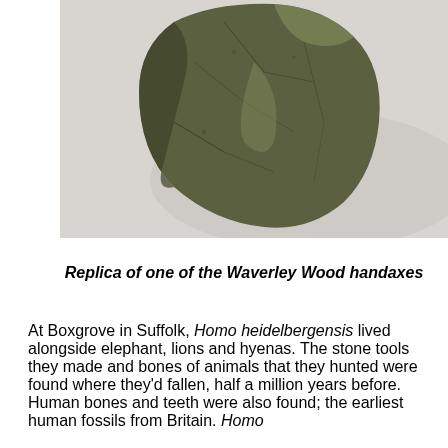[Figure (photo): Photograph of a dark olive-green stone handaxe (flint/flint-like) replica, shown against a light grey/white background. The handaxe is roughly oval-teardrop shaped with visible flaking patterns on its surface.]
Replica of one of the Waverley Wood handaxes
At Boxgrove in Suffolk, Homo heidelbergensis lived alongside elephant, lions and hyenas. The stone tools they made and bones of animals that they hunted were found where they'd fallen, half a million years before. Human bones and teeth were also found; the earliest human fossils from Britain. Homo